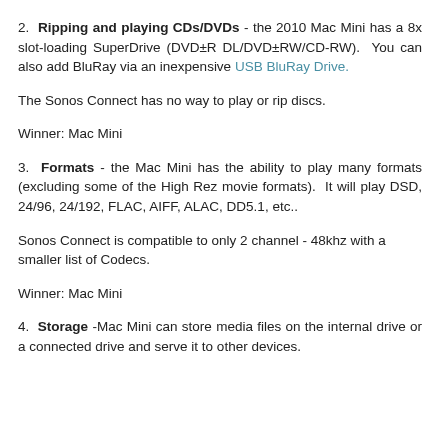2. Ripping and playing CDs/DVDs - the 2010 Mac Mini has a 8x slot-loading SuperDrive (DVD±R DL/DVD±RW/CD-RW). You can also add BluRay via an inexpensive USB BluRay Drive.
The Sonos Connect has no way to play or rip discs.
Winner: Mac Mini
3. Formats - the Mac Mini has the ability to play many formats (excluding some of the High Rez movie formats). It will play DSD, 24/96, 24/192, FLAC, AIFF, ALAC, DD5.1, etc..
Sonos Connect is compatible to only 2 channel - 48khz with a smaller list of Codecs.
Winner: Mac Mini
4. Storage -Mac Mini can store media files on the internal drive or a connected drive and serve it to other devices.